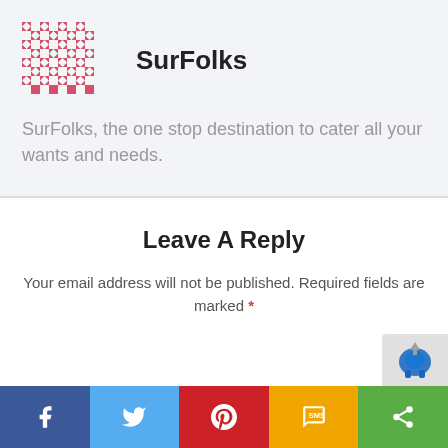[Figure (logo): SurFolks logo: a square grid pattern made of pink/red geometric shapes (diamonds, chevrons, rectangles)]
SurFolks
SurFolks, the one stop destination to cater all your wants and needs.
Leave A Reply
Your email address will not be published. Required fields are marked *
[Figure (infographic): Social share bar with five buttons: Facebook (blue), Twitter (light blue), Pinterest (red), SMS (yellow), Share (green)]